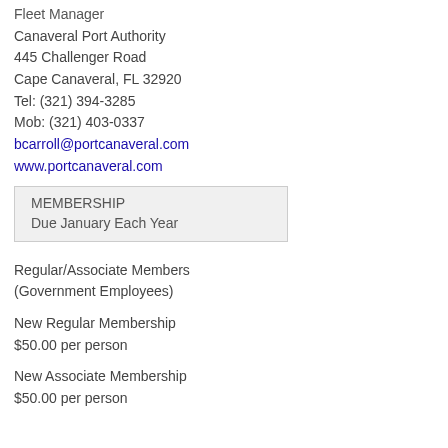Fleet Manager
Canaveral Port Authority
445 Challenger Road
Cape Canaveral, FL 32920
Tel: (321) 394-3285
Mob: (321) 403-0337
bcarroll@portcanaveral.com
www.portcanaveral.com
MEMBERSHIP
Due January Each Year
Regular/Associate Members
(Government Employees)
New Regular Membership
$50.00 per person
New Associate Membership
$50.00 per person